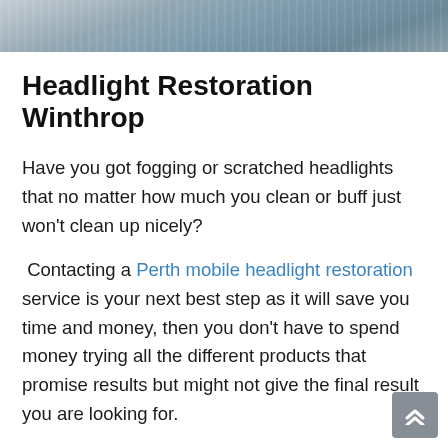[Figure (photo): Close-up photo of a car headlight, partially visible at the top of the page]
Headlight Restoration Winthrop
Have you got fogging or scratched headlights that no matter how much you clean or buff just won't clean up nicely?
Contacting a Perth mobile headlight restoration service is your next best step as it will save you time and money, then you don't have to spend money trying all the different products that promise results but might not give the final result you are looking for.